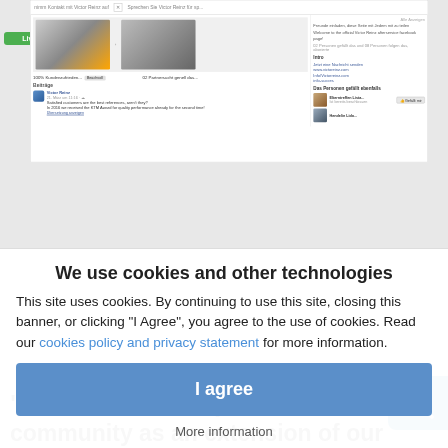[Figure (screenshot): Screenshot of a Facebook business page for Victor Reinz showing carousel images of motorcycles and people, posts section with a Victor Reinz post about KTM Award, and a sidebar with page info, followers, links, and suggested people to follow. A green button is visible on the left side.]
“We are excited to join the Facebook community as an extension of our relationship
We use cookies and other technologies
This site uses cookies. By continuing to use this site, closing this banner, or clicking "I Agree", you agree to the use of cookies. Read our cookies policy and privacy statement for more information.
I agree
More information